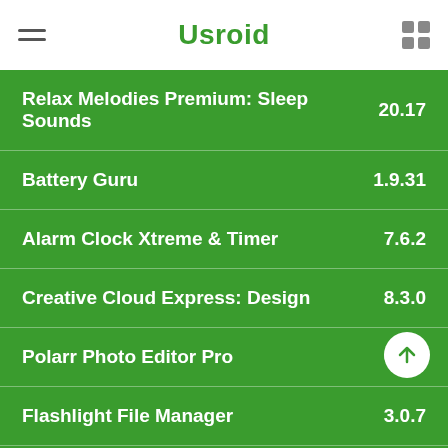Usroid
Relax Melodies Premium: Sleep Sounds  20.17
Battery Guru  1.9.31
Alarm Clock Xtreme & Timer  7.6.2
Creative Cloud Express: Design  8.3.0
Polarr Photo Editor Pro  6.5.9
Flashlight File Manager  3.0.7
Instagram Lite  318.0.0.16.105
YouTube Music  5.22.54